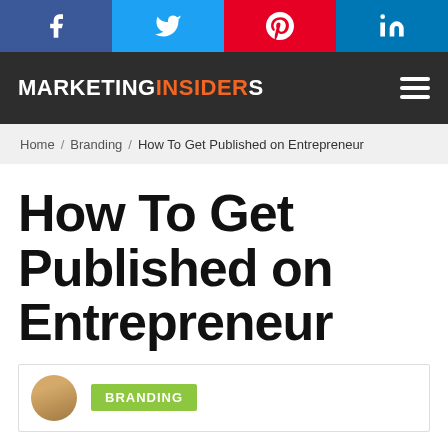[Figure (other): Social share buttons: Facebook, Twitter, Pinterest, LinkedIn]
MARKETINGINSIDERS
Home / Branding / How To Get Published on Entrepreneur
How To Get Published on Entrepreneur
[Figure (other): Author avatar and BRANDING category tag]